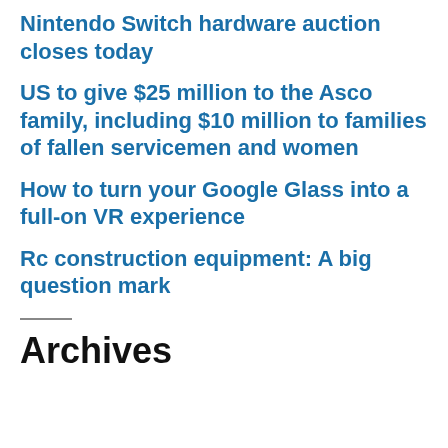Nintendo Switch hardware auction closes today
US to give $25 million to the Asco family, including $10 million to families of fallen servicemen and women
How to turn your Google Glass into a full-on VR experience
Rc construction equipment: A big question mark
Archives